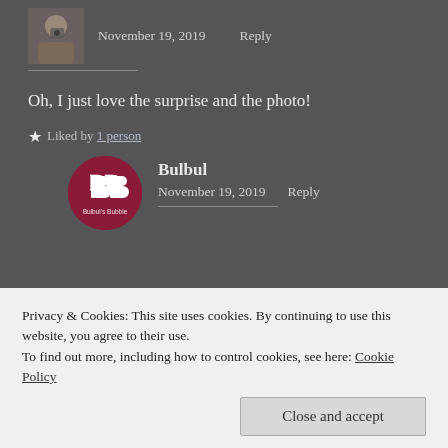[Figure (photo): Small avatar photo of a person holding a camera]
November 19, 2019    Reply
Oh, I just love the surprise and the photo!
★ Liked by 1 person
[Figure (logo): Bulbul's Bubble circular logo with stylized BB letters on dark red background]
Bulbul
November 19, 2019    Reply
Privacy & Cookies: This site uses cookies. By continuing to use this website, you agree to their use.
To find out more, including how to control cookies, see here: Cookie Policy